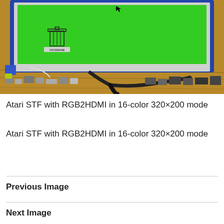[Figure (photo): Photo of an Atari STF computer connected to an RGB2HDMI adapter, showing a monitor with a green desktop screen displaying a trash can icon labeled PAPIERKORB. Electronic components and cables are visible on a wooden surface in the foreground.]
Atari STF with RGB2HDMI in 16-color 320×200 mode
Atari STF with RGB2HDMI in 16-color 320×200 mode
Previous Image
Next Image